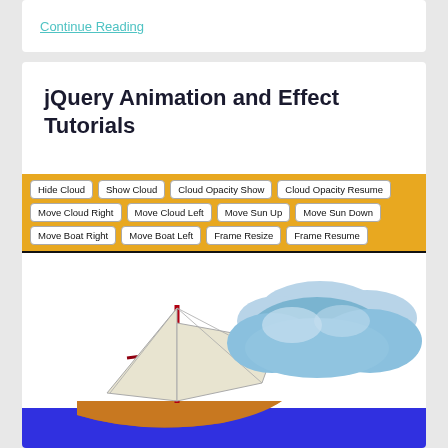Continue Reading
jQuery Animation and Effect Tutorials
[Figure (screenshot): Interactive jQuery animation demo showing a sailboat on water with clouds, and a control bar with buttons: Hide Cloud, Show Cloud, Cloud Opacity Show, Cloud Opacity Resume, Move Cloud Right, Move Cloud Left, Move Sun Up, Move Sun Down, Move Boat Right, Move Boat Left, Frame Resize, Frame Resume]